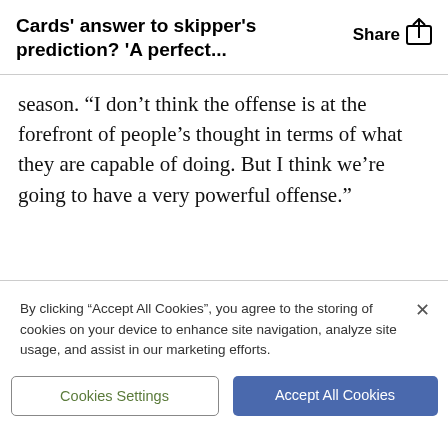Cards' answer to skipper's prediction? 'A perfect...
season. “I don’t think the offense is at the forefront of people’s thought in terms of what they are capable of doing. But I think we’re going to have a very powerful offense.”
By clicking “Accept All Cookies”, you agree to the storing of cookies on your device to enhance site navigation, analyze site usage, and assist in our marketing efforts.
Cookies Settings
Accept All Cookies